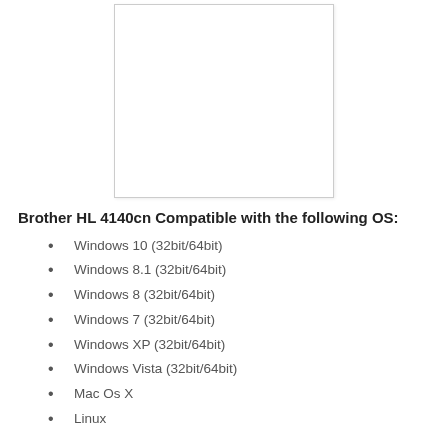[Figure (photo): White rectangular image placeholder box with light gray border, representing a product image of the Brother HL 4140cn printer.]
Brother HL 4140cn Compatible with the following OS:
Windows 10 (32bit/64bit)
Windows 8.1 (32bit/64bit)
Windows 8 (32bit/64bit)
Windows 7 (32bit/64bit)
Windows XP (32bit/64bit)
Windows Vista (32bit/64bit)
Mac Os X
Linux